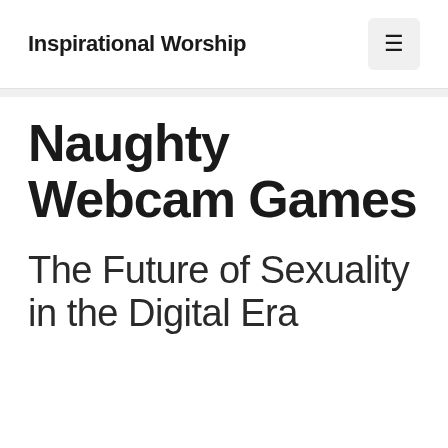Inspirational Worship
Naughty Webcam Games
The Future of Sexuality in the Digital Era